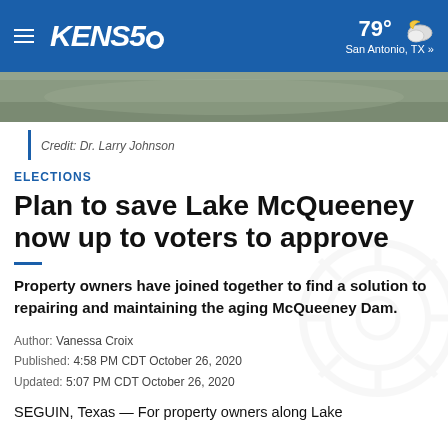KENS5 — 79° San Antonio, TX »
[Figure (photo): Outdoor landscape photo strip, appears to show lake or nature scene]
Credit: Dr. Larry Johnson
ELECTIONS
Plan to save Lake McQueeney now up to voters to approve
Property owners have joined together to find a solution to repairing and maintaining the aging McQueeney Dam.
Author: Vanessa Croix
Published: 4:58 PM CDT October 26, 2020
Updated: 5:07 PM CDT October 26, 2020
SEGUIN, Texas — For property owners along Lake